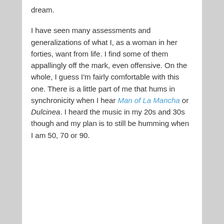dream.
I have seen many assessments and generalizations of what I, as a woman in her forties, want from life. I find some of them appallingly off the mark, even offensive. On the whole, I guess I'm fairly comfortable with this one. There is a little part of me that hums in synchronicity when I hear Man of La Mancha or Dulcinea. I heard the music in my 20s and 30s though and my plan is to still be humming when I am 50, 70 or 90.